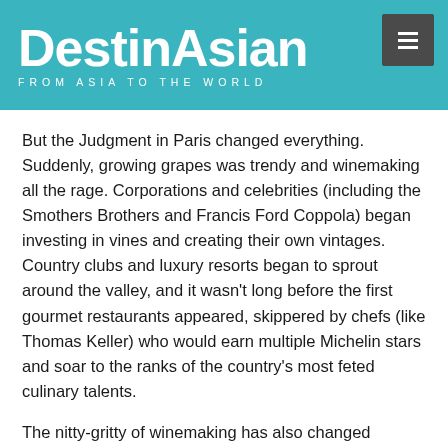DestinAsian — FROM ASIA TO THE WORLD
But the Judgment in Paris changed everything. Suddenly, growing grapes was trendy and winemaking all the rage. Corporations and celebrities (including the Smothers Brothers and Francis Ford Coppola) began investing in vines and creating their own vintages. Country clubs and luxury resorts began to sprout around the valley, and it wasn't long before the first gourmet restaurants appeared, skippered by chefs (like Thomas Keller) who would earn multiple Michelin stars and soar to the ranks of the country's most feted culinary talents.
The nitty-gritty of winemaking has also changed radically since the '70s. There has always been a certain science to growing grapes. But taking a page from nearby Silicon Valley, the vintners of Napa have come to rely on technology to the point where remote-control agriculture is now just as important as hands-on farming in the quest to produce the best grapes and superior wines.